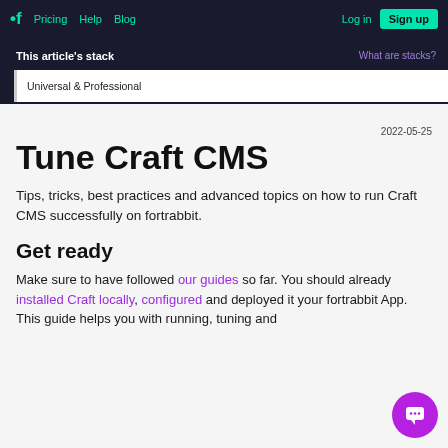fortrabbit logo · Pricing · Help · Blog · Log in · Sign up
This article's stack
What are stacks?
Universal & Professional
Tune Craft CMS
2022-05-25
Tips, tricks, best practices and advanced topics on how to run Craft CMS successfully on fortrabbit.
Get ready
Make sure to have followed our guides so far. You should already installed Craft locally, configured and deployed it your fortrabbit App. This guide helps you with running, tuning and